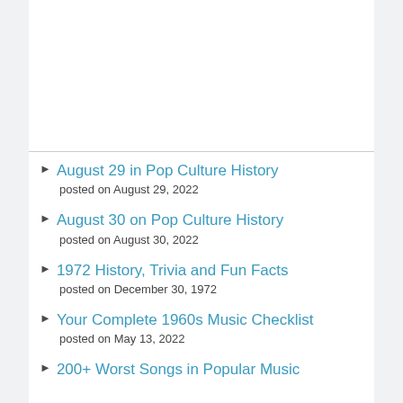August 29 in Pop Culture History
posted on August 29, 2022
August 30 on Pop Culture History
posted on August 30, 2022
1972 History, Trivia and Fun Facts
posted on December 30, 1972
Your Complete 1960s Music Checklist
posted on May 13, 2022
200+ Worst Songs in Popular Music